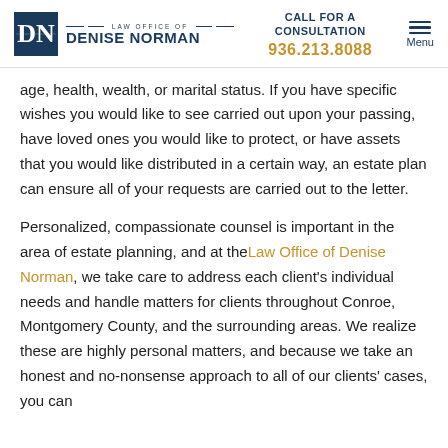Law Office of Denise Norman | Call for a Consultation: 936.213.8088
age, health, wealth, or marital status. If you have specific wishes you would like to see carried out upon your passing, have loved ones you would like to protect, or have assets that you would like distributed in a certain way, an estate plan can ensure all of your requests are carried out to the letter.
Personalized, compassionate counsel is important in the area of estate planning, and at the Law Office of Denise Norman, we take care to address each client’s individual needs and handle matters for clients throughout Conroe, Montgomery County, and the surrounding areas. We realize these are highly personal matters, and because we take an honest and no-nonsense approach to all of our clients’ cases, you can trust that we will always put your interests and wishes first.